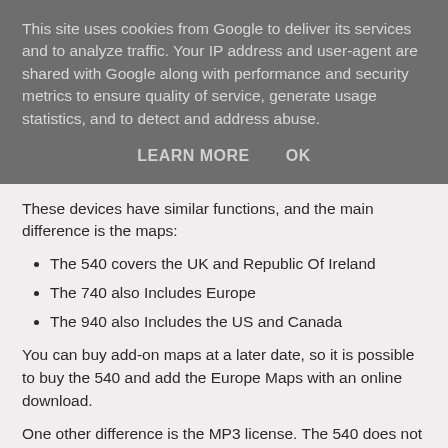This site uses cookies from Google to deliver its services and to analyze traffic. Your IP address and user-agent are shared with Google along with performance and security metrics to ensure quality of service, generate usage statistics, and to detect and address abuse.
LEARN MORE    OK
These devices have similar functions, and the main difference is the maps:
The 540 covers the UK and Republic Of Ireland
The 740 also Includes Europe
The 940 also Includes the US and Canada
You can buy add-on maps at a later date, so it is possible to buy the 540 and add the Europe Maps with an online download.
One other difference is the MP3 license. The 540 does not come with an MP3 license, so you can't use it to play music whilst you drive.